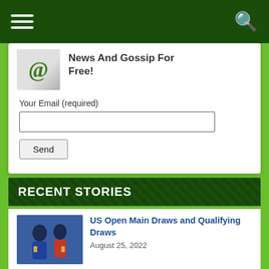Navigation bar with hamburger menu and search icon
News And Gossip For Free!
Your Email (required)
Send
RECENT STORIES
US Open Main Draws and Qualifying Draws
August 25, 2022
Kim Clijsters Named Honorary President of the International Tennis Hall of Fame
August 25, 2022